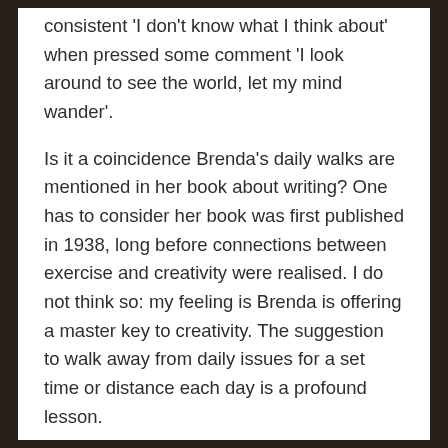consistent 'I don't know what I think about' when pressed some comment 'I look around to see the world, let my mind wander'.
Is it a coincidence Brenda's daily walks are mentioned in her book about writing? One has to consider her book was first published in 1938, long before connections between exercise and creativity were realised. I do not think so: my feeling is Brenda is offering a master key to creativity. The suggestion to walk away from daily issues for a set time or distance each day is a profound lesson.
Do not fall into the trap of thinking creativity is confined to artistic projects. Ludwig Wittgenstein was an Austrian-British philosopher who many believe was the worlds most nuanced thinker.